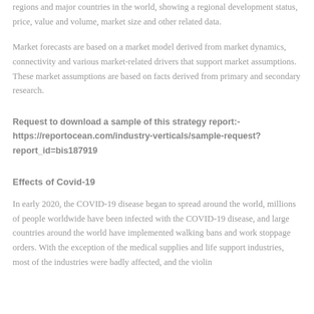regions and major countries in the world, showing a regional development status, price, value and volume, market size and other related data.
Market forecasts are based on a market model derived from market dynamics, connectivity and various market-related drivers that support market assumptions. These market assumptions are based on facts derived from primary and secondary research.
Request to download a sample of this strategy report:- https://reportocean.com/industry-verticals/sample-request?report_id=bis187919
Effects of Covid-19
In early 2020, the COVID-19 disease began to spread around the world, millions of people worldwide have been infected with the COVID-19 disease, and large countries around the world have implemented walking bans and work stoppage orders. With the exception of the medical supplies and life support industries, most of the industries were badly affected, and the violin